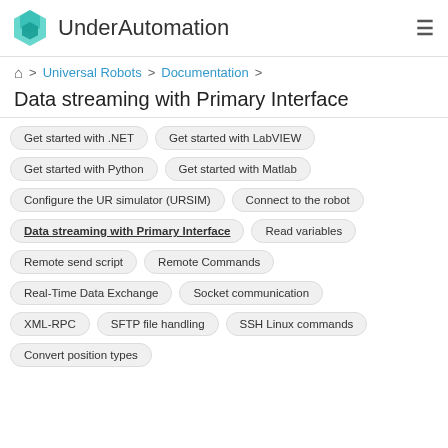UnderAutomation
Home > Universal Robots > Documentation >
Data streaming with Primary Interface
Get started with .NET
Get started with LabVIEW
Get started with Python
Get started with Matlab
Configure the UR simulator (URSIM)
Connect to the robot
Data streaming with Primary Interface
Read variables
Remote send script
Remote Commands
Real-Time Data Exchange
Socket communication
XML-RPC
SFTP file handling
SSH Linux commands
Convert position types